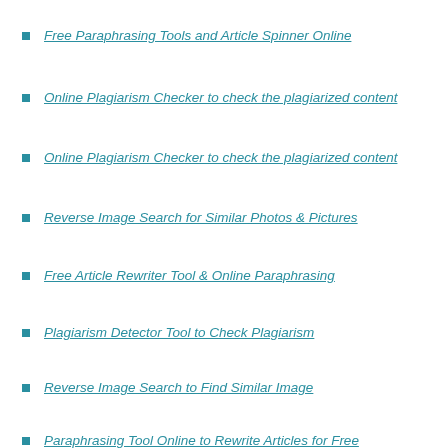Free Paraphrasing Tools and Article Spinner Online
Online Plagiarism Checker to check the plagiarized content
Online Plagiarism Checker to check the plagiarized content
Reverse Image Search for Similar Photos & Pictures
Free Article Rewriter Tool & Online Paraphrasing
Plagiarism Detector Tool to Check Plagiarism
Reverse Image Search to Find Similar Image
Paraphrasing Tool Online to Rewrite Articles for Free